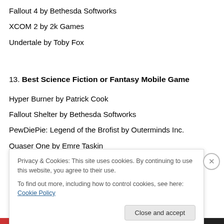Fallout 4 by Bethesda Softworks
XCOM 2 by 2k Games
Undertale by Toby Fox
13. Best Science Fiction or Fantasy Mobile Game
Hyper Burner by Patrick Cook
Fallout Shelter by Bethesda Softworks
PewDiePie: Legend of the Brofist by Outerminds Inc.
Quaser One by Emre Taskin
Star Wars: Galaxy of Heroes by Electronic Arts
Privacy & Cookies: This site uses cookies. By continuing to use this website, you agree to their use.
To find out more, including how to control cookies, see here: Cookie Policy